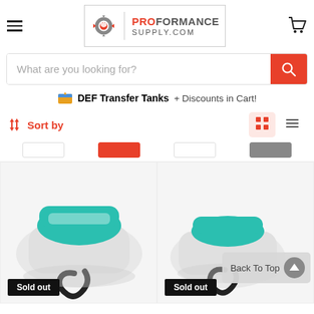[Figure (logo): ProFormance Supply.com logo with gear and flame icon]
What are you looking for?
DEF Transfer Tanks + Discounts in Cart!
Sort by
[Figure (photo): DEF transfer tank product image, white tank with teal top, sold out]
[Figure (photo): DEF transfer tank product image, white tank with teal accents, sold out, Back To Top button overlay]